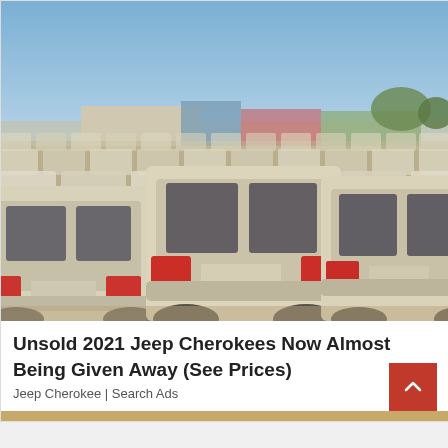[Figure (photo): Large outdoor lot filled with rows of white dusty SUVs/cars parked bumper-to-bumper, viewed from slightly elevated angle. Sky is blue with light haze. Industrial buildings visible in background. Ground is sandy/dirt.]
Unsold 2021 Jeep Cherokees Now Almost Being Given Away (See Prices)
Jeep Cherokee | Search Ads